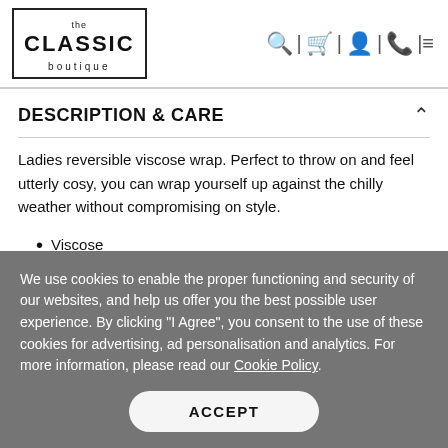the CLASSIC boutique
DESCRIPTION & CARE
Ladies reversible viscose wrap. Perfect to throw on and feel utterly cosy, you can wrap yourself up against the chilly weather without compromising on style.
Viscose
Machine washable
We use cookies to enable the proper functioning and security of our websites, and help us offer you the best possible user experience. By clicking "I Agree", you consent to the use of these cookies for advertising, ad personalisation and analytics. For more information, please read our Cookie Policy.
ACCEPT